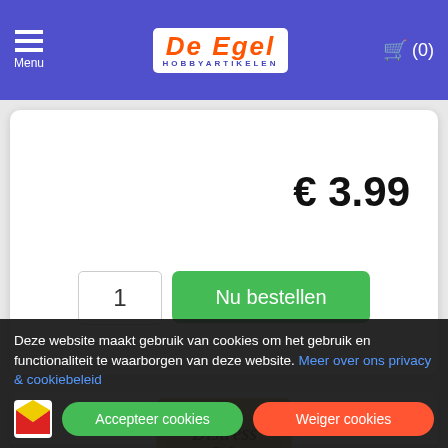De Egel Hobbyartikelen — Menu — Cart (0)
€ 3.99
1  Nu bestellen
[Figure (photo): Distress Ink mini set product package with 4 ink pads in green, pink, light blue, and yellow colors]
Deze website maakt gebruik van cookies om het gebruik en functionaliteit te waarborgen van deze website. Meer over ons privacy & cookiebeleid
Accepteer cookies  Weiger cookies